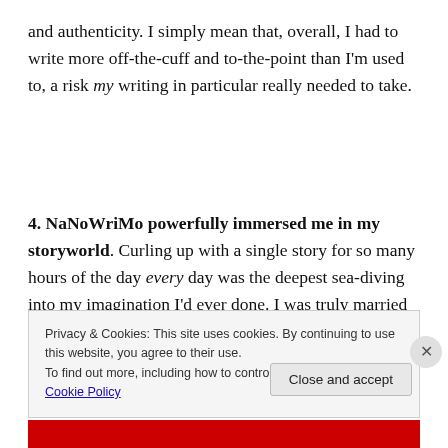and authenticity. I simply mean that, overall, I had to write more off-the-cuff and to-the-point than I'm used to, a risk my writing in particular really needed to take.
4. NaNoWriMo powerfully immersed me in my storyworld. Curling up with a single story for so many hours of the day every day was the deepest sea-diving into my imagination I'd ever done. I was truly married to
Privacy & Cookies: This site uses cookies. By continuing to use this website, you agree to their use.
To find out more, including how to control cookies, see here: Cookie Policy
Close and accept